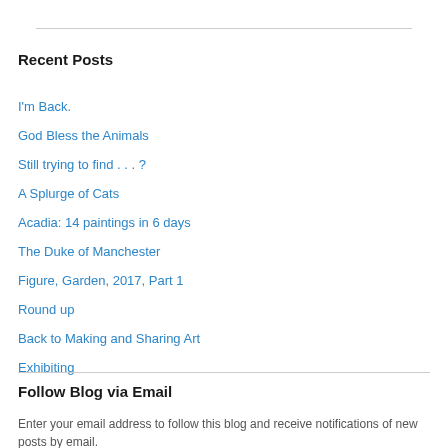Recent Posts
I'm Back.
God Bless the Animals
Still trying to find . . . ?
A Splurge of Cats
Acadia: 14 paintings in 6 days
The Duke of Manchester
Figure, Garden, 2017, Part 1
Round up
Back to Making and Sharing Art
Exhibiting
Follow Blog via Email
Enter your email address to follow this blog and receive notifications of new posts by email.